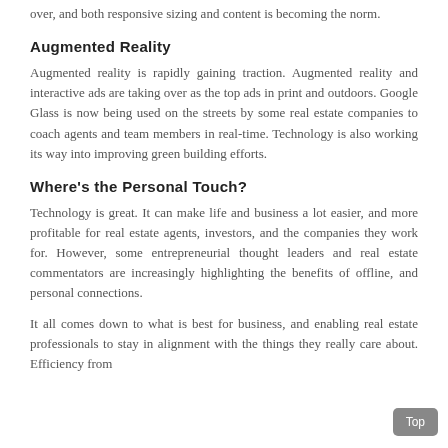over, and both responsive sizing and content is becoming the norm.
Augmented Reality
Augmented reality is rapidly gaining traction. Augmented reality and interactive ads are taking over as the top ads in print and outdoors. Google Glass is now being used on the streets by some real estate companies to coach agents and team members in real-time. Technology is also working its way into improving green building efforts.
Where's the Personal Touch?
Technology is great. It can make life and business a lot easier, and more profitable for real estate agents, investors, and the companies they work for. However, some entrepreneurial thought leaders and real estate commentators are increasingly highlighting the benefits of offline, and personal connections.
It all comes down to what is best for business, and enabling real estate professionals to stay in alignment with the things they really care about. Efficiency from